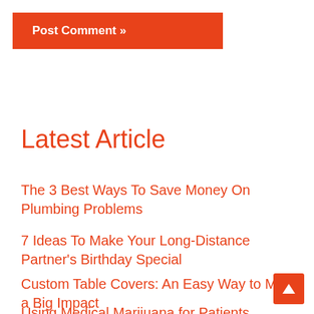Post Comment »
Latest Article
The 3 Best Ways To Save Money On Plumbing Problems
7 Ideas To Make Your Long-Distance Partner's Birthday Special
Custom Table Covers: An Easy Way to Make a Big Impact
Using Medical Marijuana for Patients with Anxiety in New Orleans